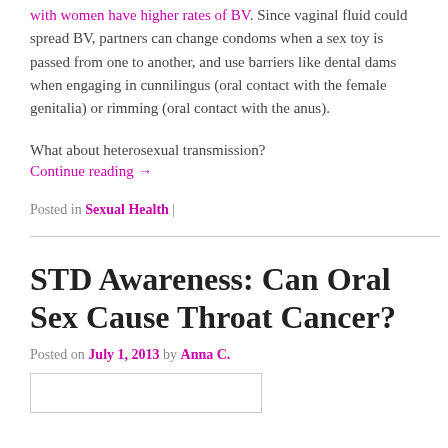with women have higher rates of BV. Since vaginal fluid could spread BV, partners can change condoms when a sex toy is passed from one to another, and use barriers like dental dams when engaging in cunnilingus (oral contact with the female genitalia) or rimming (oral contact with the anus).
What about heterosexual transmission?
Continue reading →
Posted in Sexual Health |
STD Awareness: Can Oral Sex Cause Throat Cancer?
Posted on July 1, 2013 by Anna C.
[Figure (other): Small image placeholder at bottom of page]